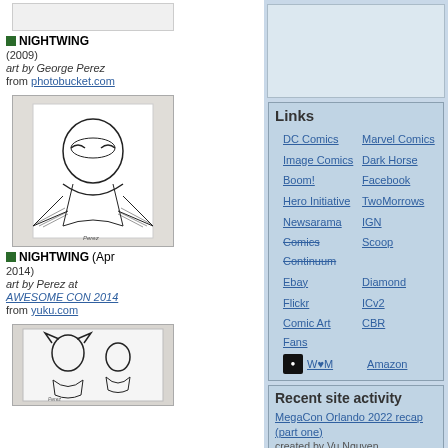[Figure (photo): White rectangle placeholder image at top left]
NIGHTWING (2009)
art by George Perez
from photobucket.com
[Figure (photo): Sketch drawing of Nightwing character]
NIGHTWING (Apr 2014)
art by Perez at AWESOME CON 2014
from yuku.com
[Figure (photo): Sketch of Batman and Robin characters]
[Figure (photo): Light blue advertisement box in upper right]
Links
DC Comics
Marvel Comics
Image Comics
Dark Horse
Boom!
Facebook
Hero Initiative
TwoMorrows
Newsarama
IGN
Comics Continuum
Scoop
Ebay
Diamond
Flickr
ICv2
Comic Art Fans
CBR
W♥M
Amazon
Recent site activity
MegaCon Orlando 2022 recap (part one)
created by Vu Nguyen
George Perez Memorial Service at MegaCon Orlando (2022-05-22)
edited by Vu Nguyen
George Perez Memorial
created by Vu Nguyen